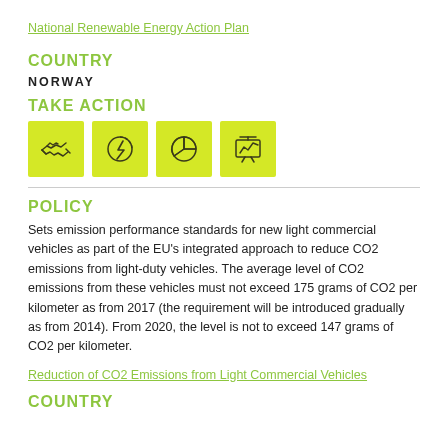National Renewable Energy Action Plan
COUNTRY
NORWAY
TAKE ACTION
[Figure (infographic): Four yellow icon boxes in a row: handshake icon, circular energy/lightning bolt icon, pie chart icon, presentation board with chart icon]
POLICY
Sets emission performance standards for new light commercial vehicles as part of the EU's integrated approach to reduce CO2 emissions from light-duty vehicles. The average level of CO2 emissions from these vehicles must not exceed 175 grams of CO2 per kilometer as from 2017 (the requirement will be introduced gradually as from 2014). From 2020, the level is not to exceed 147 grams of CO2 per kilometer.
Reduction of CO2 Emissions from Light Commercial Vehicles
COUNTRY